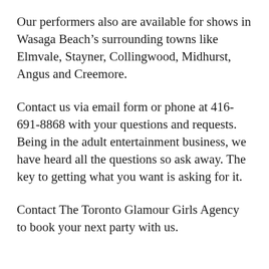Our performers also are available for shows in Wasaga Beach's surrounding towns like Elmvale, Stayner, Collingwood, Midhurst, Angus and Creemore.
Contact us via email form or phone at 416-691-8868 with your questions and requests. Being in the adult entertainment business, we have heard all the questions so ask away. The key to getting what you want is asking for it.
Contact The Toronto Glamour Girls Agency to book your next party with us.